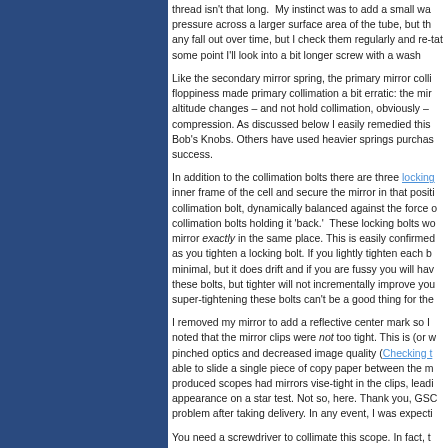thread isn't that long.  My instinct was to add a small wa... pressure across a larger surface area of the tube, but th... any fall out over time, but I check them regularly and re-t... at some point I'll look into a bit longer screw with a wash...
Like the secondary mirror spring, the primary mirror colli... floppiness made primary collimation a bit erratic: the mir... altitude changes – and not hold collimation, obviously – ... compression. As discussed below I easily remedied this ... Bob's Knobs. Others have used heavier springs purchas... success.
In addition to the collimation bolts there are three locking... inner frame of the cell and secure the mirror in that positi... collimation bolt, dynamically balanced against the force o... collimation bolts holding it 'back.'  These locking bolts wo... mirror exactly in the same place. This is easily confirmed... as you tighten a locking bolt. If you lightly tighten each b... minimal, but it does drift and if you are fussy you will hav... these bolts, but tighter will not incrementally improve you... super-tightening these bolts can't be a good thing for the...
I removed my mirror to add a reflective center mark so I ... noted that the mirror clips were not too tight. This is (or w... pinched optics and decreased image quality (Checking t... able to slide a single piece of copy paper between the m... produced scopes had mirrors vise-tight in the clips, leadi... appearance on a star test. Not so, here. Thank you, GSC... problem after taking delivery. In any event, I was expecti...
You need a screwdriver to collimate this scope. In fact, t... secondary collimation screws, and a regular screwdriver... haven't all the vendors added finger-friendly knobs for al... happy, I'm sure. To any manufacturers reading this, if yo... screwdriver to collimate, at least make it the same style ...
The cooling fan with this scope is a nice addition, especi... back of the cell. As designed this fan is meant to help co...